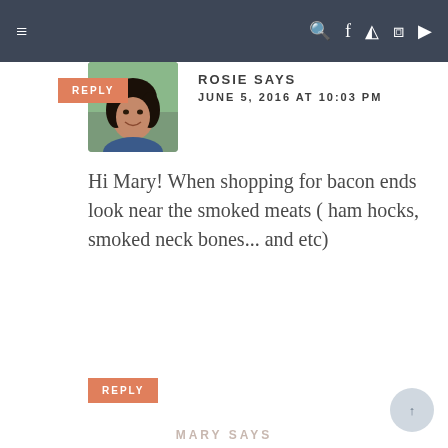Navigation bar with hamburger menu and social icons (search, facebook, instagram, pinterest, youtube)
REPLY
[Figure (photo): Profile photo of Rosie, a woman with curly black hair, outdoors with greenery in background]
ROSIE SAYS
JUNE 5, 2016 AT 10:03 PM
Hi Mary! When shopping for bacon ends look near the smoked meats ( ham hocks, smoked neck bones... and etc)
REPLY
MARY SAYS